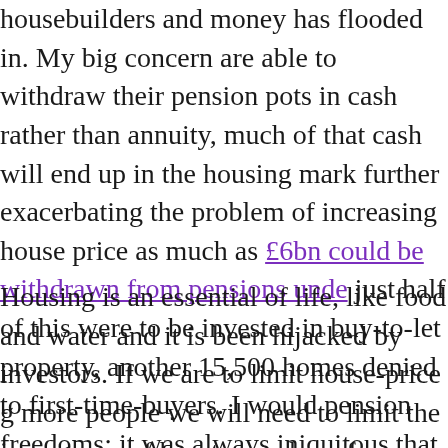housebuilders and money has flooded in. My big concern are able to withdraw their pension pots in cash rather than annuity, much of that cash will end up in the housing mark further exacerbating the problem of increasing house price as much as £6bn could be withdrawn from pensions unde just half of this were to be invested in buy-to-let property, another 15,500 homes denied to first-time-buyers. I would pension freedoms; it was always iniquitous that pensioner and find that, for no reason other than an accident of their the annuity rate was so low that it placed them in poverty. stoke house prices is not the answer.
Housing is an essential of life, like food and water and it is been hijacked by investors. If we are to limit house-price g more people we will need to limit the insurgency of buy-to number of ways, for example via the taxation system but h Currently, the system, dominated by the 6-month assured firmly in favour of the landlord, who can increase the rent six months and can terminate the agreement on a month's